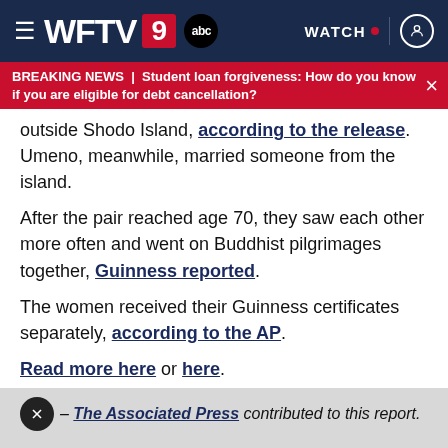WFTV 9 abc | WATCH | User icon
BREAKING NEWS | Student loan forgiveness: How do you know if you are eligible for debt cancellation?
outside Shodo Island, according to the release. Umeno, meanwhile, married someone from the island.
After the pair reached age 70, they saw each other more often and went on Buddhist pilgrimages together, Guinness reported.
The women received their Guinness certificates separately, according to the AP.
Read more here or here.
– The Associated Press contributed to this report.
©2021 Cox Media Group